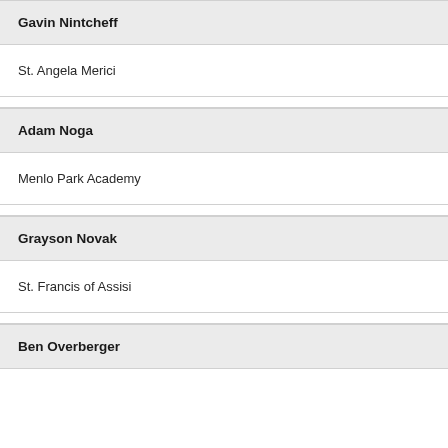Gavin Nintcheff
St. Angela Merici
Adam Noga
Menlo Park Academy
Grayson Novak
St. Francis of Assisi
Ben Overberger